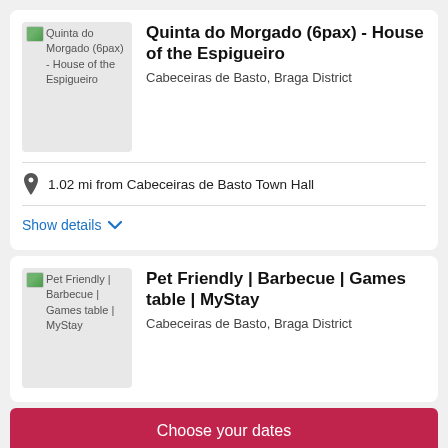[Figure (photo): Placeholder image for Quinta do Morgado (6pax) - House of the Espigueiro]
Quinta do Morgado (6pax) - House of the Espigueiro
Cabeceiras de Basto, Braga District
1.02 mi from Cabeceiras de Basto Town Hall
Show details ∨
[Figure (photo): Placeholder image for Pet Friendly | Barbecue | Games table | MyStay]
Pet Friendly | Barbecue | Games table | MyStay
Cabeceiras de Basto, Braga District
Choose your dates